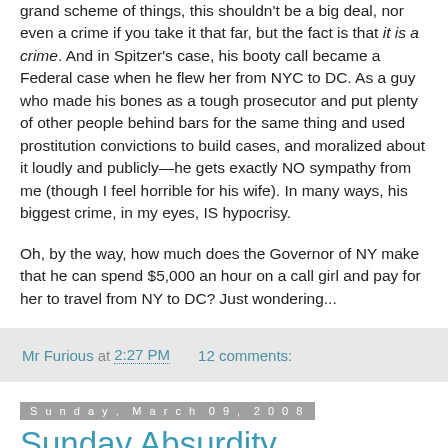grand scheme of things, this shouldn't be a big deal, nor even a crime if you take it that far, but the fact is that it is a crime. And in Spitzer's case, his booty call became a Federal case when he flew her from NYC to DC. As a guy who made his bones as a tough prosecutor and put plenty of other people behind bars for the same thing and used prostitution convictions to build cases, and moralized about it loudly and publicly—he gets exactly NO sympathy from me (though I feel horrible for his wife). In many ways, his biggest crime, in my eyes, IS hypocrisy.
Oh, by the way, how much does the Governor of NY make that he can spend $5,000 an hour on a call girl and pay for her to travel from NY to DC? Just wondering...
Mr Furious at 2:27 PM   12 comments:
Sunday, March 09, 2008
Sunday Absurdity
My Perfect TV Girlfriend